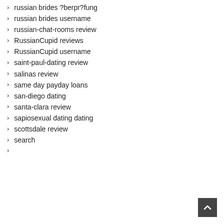russian brides ?berpr?fung
russian brides username
russian-chat-rooms review
RussianCupid reviews
RussianCupid username
saint-paul-dating review
salinas review
same day payday loans
san-diego dating
santa-clara review
sapiosexual dating dating
scottsdale review
search